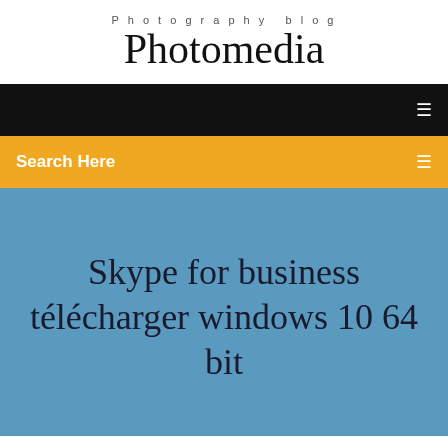Photography blog
Photomedia
☰
Search Here
Skype for business télécharger windows 10 64 bit